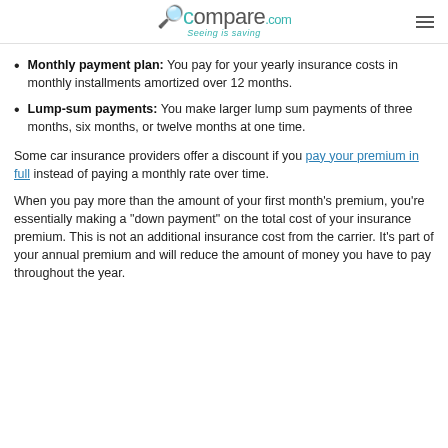Compare.com – Seeing is saving
Monthly payment plan: You pay for your yearly insurance costs in monthly installments amortized over 12 months.
Lump-sum payments: You make larger lump sum payments of three months, six months, or twelve months at one time.
Some car insurance providers offer a discount if you pay your premium in full instead of paying a monthly rate over time.
When you pay more than the amount of your first month's premium, you're essentially making a "down payment" on the total cost of your insurance premium. This is not an additional insurance cost from the carrier. It's part of your annual premium and will reduce the amount of money you have to pay throughout the year.